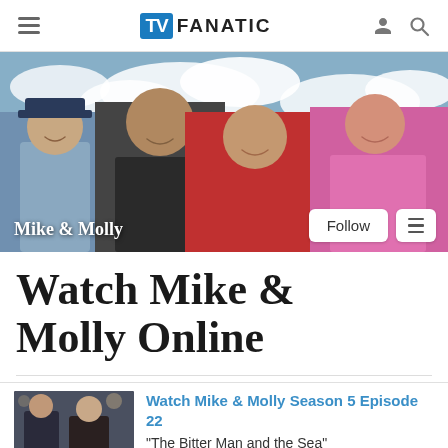TV FANATIC
[Figure (photo): Mike & Molly TV show cast banner image with four cast members posing against a cloudy sky background. Text 'Mike & Molly' overlaid at bottom left with Follow and menu buttons at bottom right.]
Watch Mike & Molly Online
[Figure (photo): Thumbnail image of Mike & Molly cast members at an event]
Watch Mike & Molly Season 5 Episode 22
"The Bitter Man and the Sea"
Original Air Date: May 18, 2015